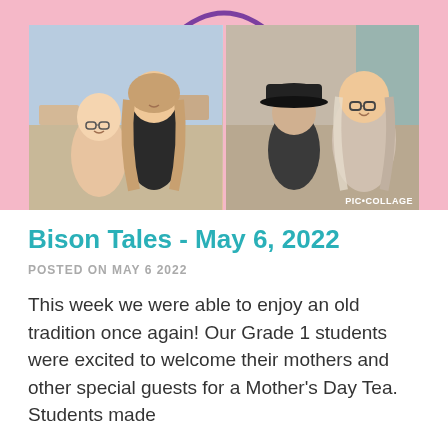[Figure (photo): Photo collage on pink background showing two photos side by side: left photo shows a young girl with glasses and a smiling woman in a classroom setting; right photo shows a boy in a black cap and a woman with glasses, with PIC•COLLAGE watermark]
Bison Tales - May 6, 2022
POSTED ON MAY 6 2022
This week we were able to enjoy an old tradition once again! Our Grade 1 students were excited to welcome their mothers and other special guests for a Mother's Day Tea. Students made